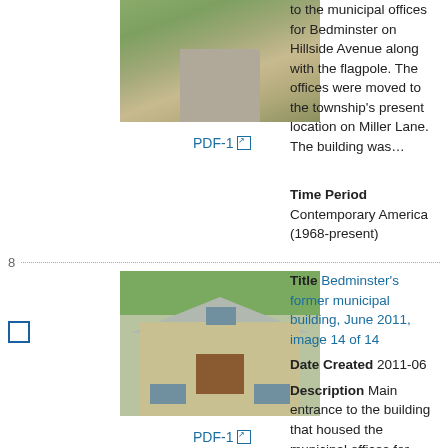[Figure (photo): Photo of a building exterior with trees and driveway visible, top portion cut off]
PDF-1
to the municipal offices for Bedminster on Hillside Avenue along with the flagpole. The offices were moved to the township's present location on Miller Lane. The building was…
Time Period Contemporary America (1968-present)
8
[Figure (photo): Photo of Bedminster's former municipal building, a small house-like structure with triangular roof, boarded windows and door]
PDF-1
Title Bedminster's former municipal building, June 2011, image 14 of 14
Date Created 2011-06
Description Main entrance to the building that housed the municipal offices for Bedminster on Hillside Avenue. The offices were moved to the township's